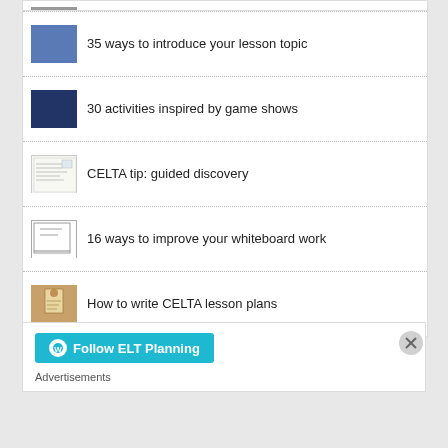[Figure (screenshot): Partial image at top (cropped)]
35 ways to introduce your lesson topic
30 activities inspired by game shows
CELTA tip: guided discovery
16 ways to improve your whiteboard work
How to write CELTA lesson plans
Follow ELT Planning
Advertisements